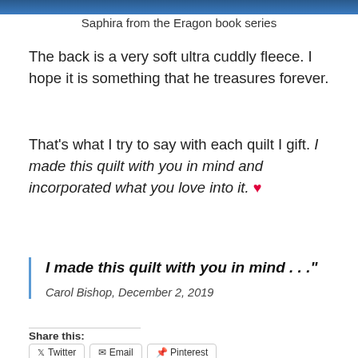[Figure (photo): Partial image strip at the top of the page showing blue tones, likely part of a quilt or artwork featuring Saphira from the Eragon book series]
Saphira from the Eragon book series
The back is a very soft ultra cuddly fleece. I hope it is something that he treasures forever.
That's what I try to say with each quilt I gift. I made this quilt with you in mind and incorporated what you love into it. ♥
I made this quilt with you in mind . . ."

Carol Bishop, December 2, 2019
Share this:
Twitter   Email   Pinterest